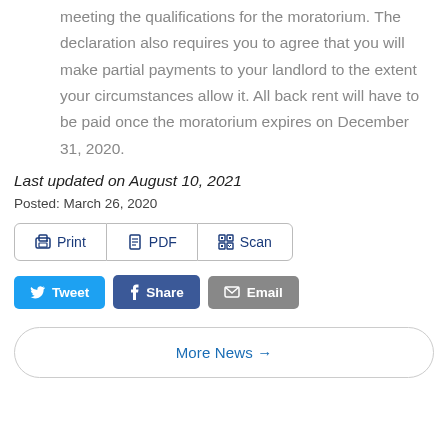meeting the qualifications for the moratorium. The declaration also requires you to agree that you will make partial payments to your landlord to the extent your circumstances allow it. All back rent will have to be paid once the moratorium expires on December 31, 2020.
Last updated on August 10, 2021
Posted: March 26, 2020
[Figure (other): Action buttons row: Print, PDF, Scan]
[Figure (other): Social share buttons: Tweet, Share, Email]
[Figure (other): More News button]